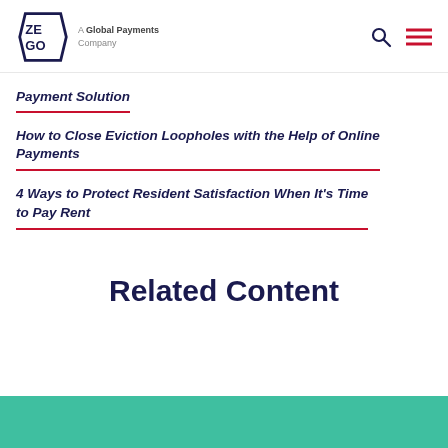ZEGO — A Global Payments Company
Payment Solution
How to Close Eviction Loopholes with the Help of Online Payments
4 Ways to Protect Resident Satisfaction When It's Time to Pay Rent
Related Content
[Figure (photo): Teal/green colored image section at bottom of page]